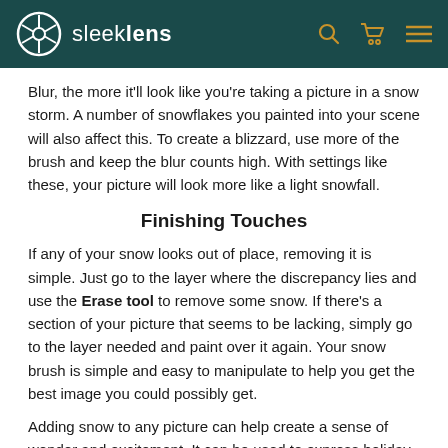sleeklens
Blur, the more it'll look like you're taking a picture in a snow storm. A number of snowflakes you painted into your scene will also affect this. To create a blizzard, use more of the brush and keep the blur counts high. With settings like these, your picture will look more like a light snowfall.
Finishing Touches
If any of your snow looks out of place, removing it is simple. Just go to the layer where the discrepancy lies and use the Erase tool to remove some snow. If there's a section of your picture that seems to be lacking, simply go to the layer needed and paint over it again. Your snow brush is simple and easy to manipulate to help you get the best image you could possibly get.
Adding snow to any picture can help create a sense of wonder and excitement. It can be used to express holiday cheer and